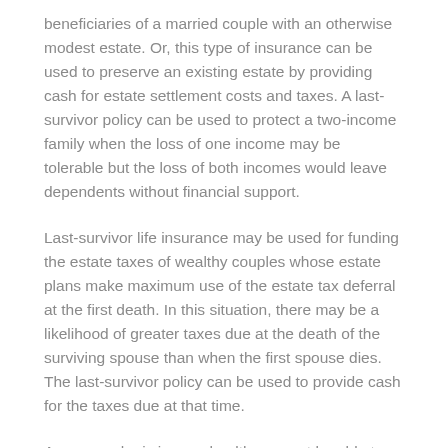beneficiaries of a married couple with an otherwise modest estate. Or, this type of insurance can be used to preserve an existing estate by providing cash for estate settlement costs and taxes. A last-survivor policy can be used to protect a two-income family when the loss of one income may be tolerable but the loss of both incomes would leave dependents without financial support.
Last-survivor life insurance may be used for funding the estate taxes of wealthy couples whose estate plans make maximum use of the estate tax deferral at the first death. In this situation, there may be a likelihood of greater taxes due at the death of the surviving spouse than when the first spouse dies. The last-survivor policy can be used to provide cash for the taxes due at that time.
A person who is in poor health may not be able to obtain an individual life insurance policy. However, insurance companies often issue last-survivor